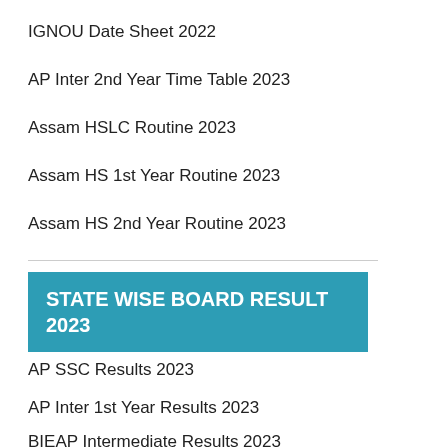IGNOU Date Sheet 2022
AP Inter 2nd Year Time Table 2023
Assam HSLC Routine 2023
Assam HS 1st Year Routine 2023
Assam HS 2nd Year Routine 2023
STATE WISE BOARD RESULT 2023
AP SSC Results 2023
AP Inter 1st Year Results 2023
BIEAP Intermediate Results 2023